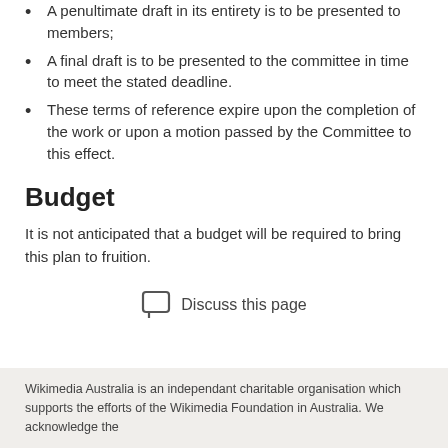A penultimate draft in its entirety is to be presented to members;
A final draft is to be presented to the committee in time to meet the stated deadline.
These terms of reference expire upon the completion of the work or upon a motion passed by the Committee to this effect.
Budget
It is not anticipated that a budget will be required to bring this plan to fruition.
Discuss this page
Wikimedia Australia is an independant charitable organisation which supports the efforts of the Wikimedia Foundation in Australia. We acknowledge the